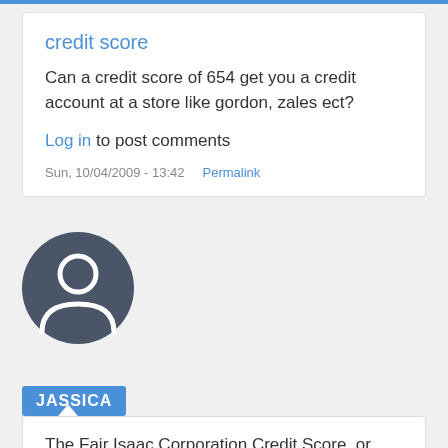credit score
Can a credit score of 654 get you a credit account at a store like gordon, zales ect?
Log in to post comments
Sun, 10/04/2009 - 13:42   Permalink
[Figure (illustration): Generic user avatar: dark gray circle with white silhouette of a person (head and shoulders)]
JASSICA
The Fair Isaac Corporation Credit Score, or